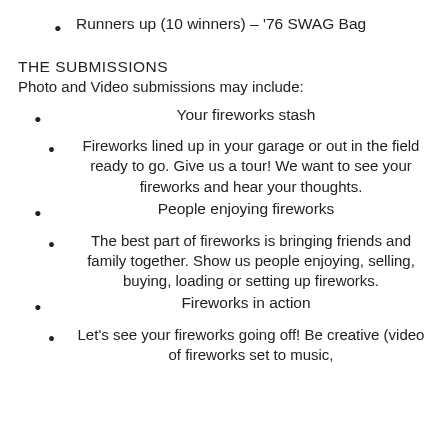Runners up (10 winners) – '76 SWAG Bag
THE SUBMISSIONS
Photo and Video submissions may include:
Your fireworks stash
Fireworks lined up in your garage or out in the field ready to go. Give us a tour! We want to see your fireworks and hear your thoughts.
People enjoying fireworks
The best part of fireworks is bringing friends and family together. Show us people enjoying, selling, buying, loading or setting up fireworks.
Fireworks in action
Let's see your fireworks going off! Be creative (video of fireworks set to music,